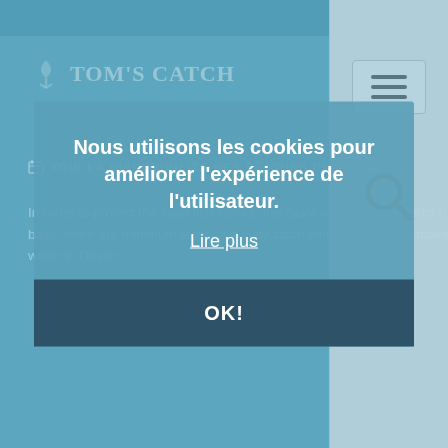Consell d'expert 7/7
Tom's Catch
VOIR LA DISPONIBILITÉ DES SÉJOURS DE PÊCHE
In order to protect the local fish stocks, the State of Florida has strict rules on sea fishing. For sea bass, there are minimum sizes and daily catch limits. Given that, make sure you drop a line in the water in Destin...
Nous utilisons les cookies pour améliorer l'expérience de l'utilisateur.
Lire plus
OK!